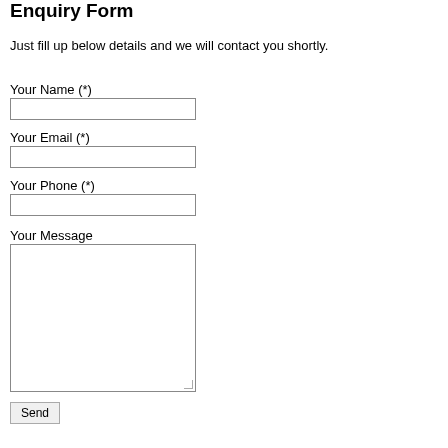Enquiry Form
Just fill up below details and we will contact you shortly.
Your Name (*)
Your Email (*)
Your Phone (*)
Your Message
Send